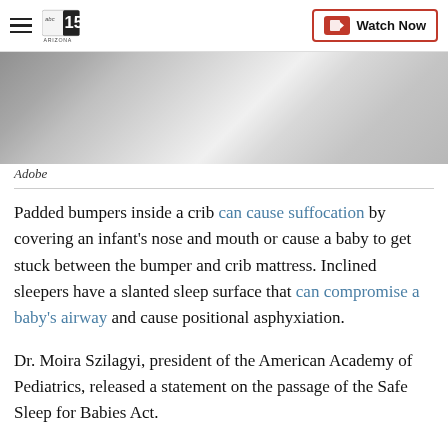abc15 ARIZONA — Watch Now
[Figure (photo): Partial view of a crib mattress or bedding in grey tones]
Adobe
Padded bumpers inside a crib can cause suffocation by covering an infant's nose and mouth or cause a baby to get stuck between the bumper and crib mattress. Inclined sleepers have a slanted sleep surface that can compromise a baby's airway and cause positional asphyxiation.
Dr. Moira Szilagyi, president of the American Academy of Pediatrics, released a statement on the passage of the Safe Sleep for Babies Act.